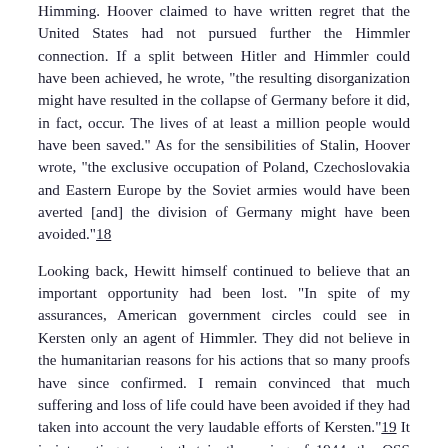Himming. Hoover claimed to have written regret that the United States had not pursued further the Himmler connection. If a split between Hitler and Himmler could have been achieved, he wrote, "the resulting disorganization might have resulted in the collapse of Germany before it did, in fact, occur. The lives of at least a million people would have been saved." As for the sensibilities of Stalin, Hoover wrote, "the exclusive occupation of Poland, Czechoslovakia and Eastern Europe by the Soviet armies would have been averted [and] the division of Germany might have been avoided."18
Looking back, Hewitt himself continued to believe that an important opportunity had been lost. "In spite of my assurances, American government circles could see in Kersten only an agent of Himmler. They did not believe in the humanitarian reasons for his actions that so many proofs have since confirmed. I remain convinced that much suffering and loss of life could have been avoided if they had taken into account the very laudable efforts of Kersten."19 It is interesting to note that in the spring of 1944, the OSS Morale Operations unit, working out of Stockholm, littered German-occupied Europe with propaganda leaflets whose purpose was "to hold out hope to German businessmen that if they acted to throw out the Nazis, Allied business interests would cooperate with them in building a bulwark against Bolshevism"—obviously a line at odds with US and British overt policy toward its wartime ally, Russia.20